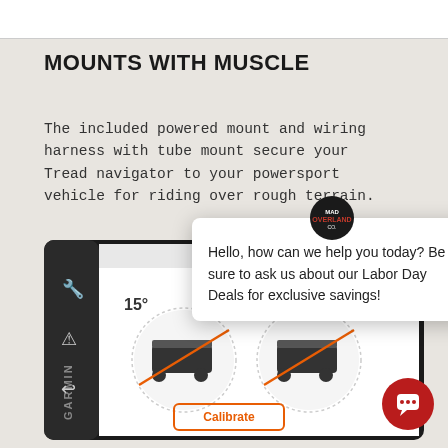MOUNTS WITH MUSCLE
The included powered mount and wiring harness with tube mount secure your Tread navigator to your powersport vehicle for riding over rough terrain.
[Figure (screenshot): Garmin Tread device screen showing off-road vehicle tilt calibration interface with 15° indicator and two UTV icons, a Calibrate button, and control sidebar icons.]
[Figure (other): Chat popup overlay from Mad Overland Co. with logo, close (×) button, and message: Hello, how can we help you today? Be sure to ask us about our Labor Day Deals for exclusive savings!]
[Figure (other): Red circular chat button with white speech bubble icon in bottom-right corner.]